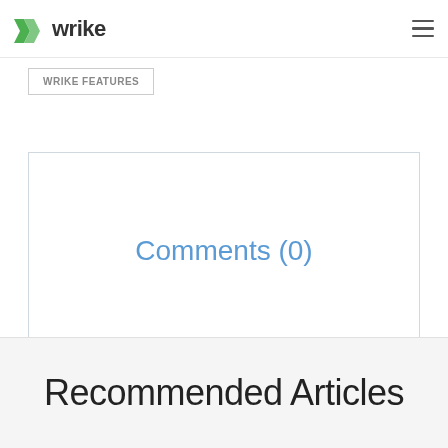wrike
WRIKE FEATURES
Comments (0)
Recommended Articles